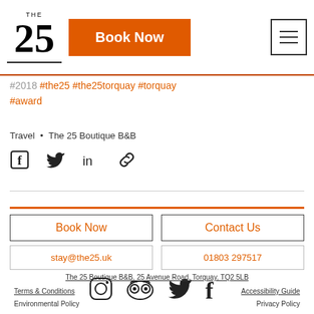THE 25 | Book Now | Menu
#2018 #the25 #the25torquay #torquay #award
Travel • The 25 Boutique B&B
[Figure (infographic): Social share icons: Facebook, Twitter, LinkedIn, link/chain]
[Figure (infographic): Footer section with Book Now, Contact Us, stay@the25.uk, 01803 297517 buttons, Instagram, TripAdvisor, Twitter, Facebook icons]
The 25 Boutique B&B, 25 Avenue Road, Torquay, TQ2 5LB
Terms & Conditions
Accessibility Guide
Environmental Policy
Privacy Policy